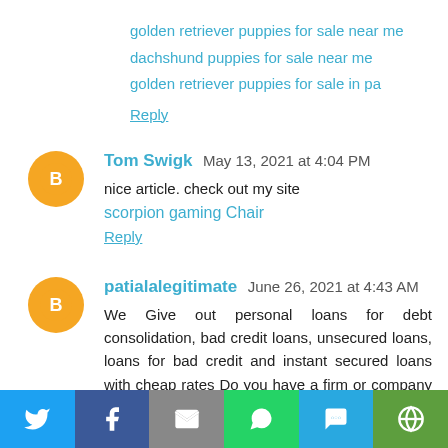golden retriever puppies for sale near me
dachshund puppies for sale near me
golden retriever puppies for sale in pa
Reply
Tom Swigk  May 13, 2021 at 4:04 PM
nice article. check out my site
scorpion gaming Chair
Reply
patialalegitimate  June 26, 2021 at 4:43 AM
We Give out personal loans for debt consolidation, bad credit loans, unsecured loans, loans for bad credit and instant secured loans with cheap rates Do you have a firm or company that need